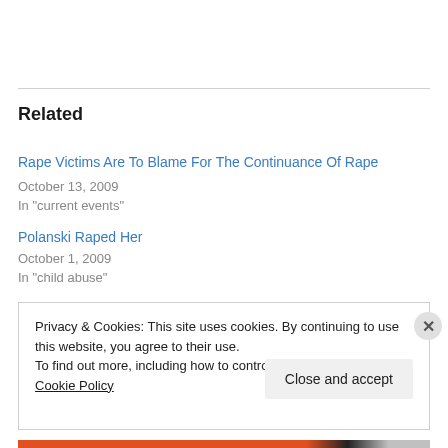Related
Rape Victims Are To Blame For The Continuance Of Rape
October 13, 2009
In "current events"
Polanski Raped Her
October 1, 2009
In "child abuse"
Privacy & Cookies: This site uses cookies. By continuing to use this website, you agree to their use.
To find out more, including how to control cookies, see here: Cookie Policy
Close and accept